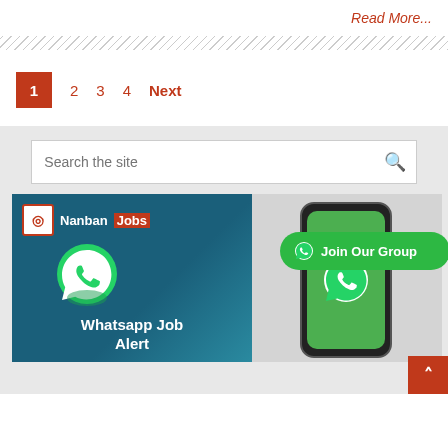Read More...
1  2  3  4  Next
[Figure (screenshot): Search bar with placeholder text 'Search the site' and a magnifying glass icon on a grey background]
[Figure (infographic): Nanban Jobs WhatsApp Job Alert banner with green WhatsApp icon, dark teal background, and phone mockup with 'Join Our Group' green button]